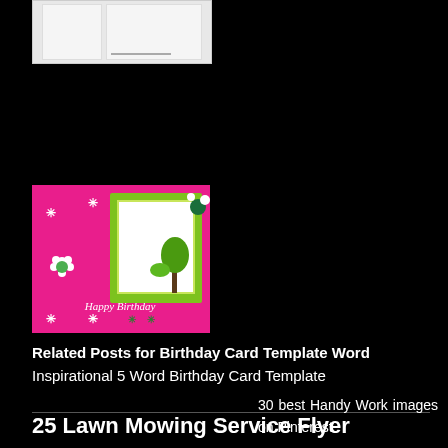[Figure (photo): Small thumbnail image of a birthday card template document, showing two panels side by side on a light gray background]
[Figure (illustration): Colorful birthday card with pink background, green square frame, white flower, tree illustration, and 'Happy Birthday' text in script font]
Related Posts for Birthday Card Template Word
Inspirational 5 Word Birthday Card Template
25 Lawn Mowing Service Flyer
30 best Handy Work images on Pinterest